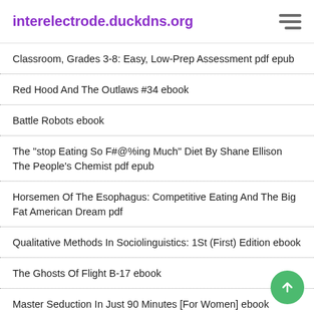interelectrode.duckdns.org
Classroom, Grades 3-8: Easy, Low-Prep Assessment pdf epub
Red Hood And The Outlaws #34 ebook
Battle Robots ebook
The "stop Eating So F#@%ing Much" Diet By Shane Ellison The People's Chemist pdf epub
Horsemen Of The Esophagus: Competitive Eating And The Big Fat American Dream pdf
Qualitative Methods In Sociolinguistics: 1St (First) Edition ebook
The Ghosts Of Flight B-17 ebook
Master Seduction In Just 90 Minutes [For Women] ebook